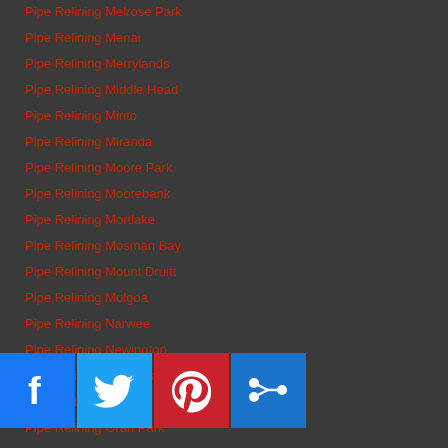Pipe Relining Melrose Park
Pipe Relining Menai
Pipe Relining Merrylands
Pipe Relining Middle Head
Pipe Relining Minto
Pipe Relining Miranda
Pipe Relining Moore Park
Pipe Relining Moorebank
Pipe Relining Mortlake
Pipe Relining Mosman Bay
Pipe Relining Mount Druitt
Pipe Relining Mulgoa
Pipe Relining Narwee
Pipe Relining Newington
Pipe Relining Oakhurst
Pipe Relining Oatley
Pipe Relining Oran Park
Pipe Relining Orchard Hills
Pipe Relining Padstow